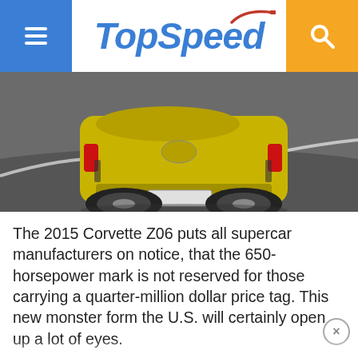TopSpeed
[Figure (photo): Rear view of a yellow 2015 Corvette Z06 on a racetrack]
The 2015 Corvette Z06 puts all supercar manufacturers on notice, that the 650-horsepower mark is not reserved for those carrying a quarter-million dollar price tag. This new monster form the U.S. will certainly open up a lot of eyes.
Love it
More powerful engine
Supercar-like output
New technology features